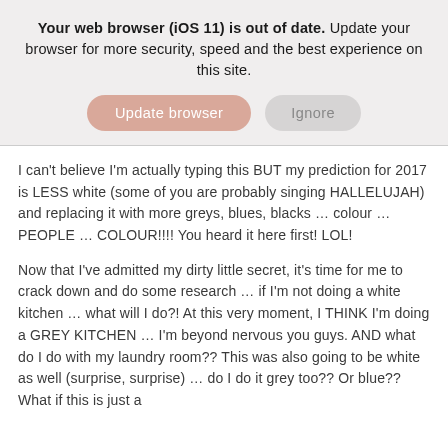Your web browser (iOS 11) is out of date. Update your browser for more security, speed and the best experience on this site.
[Figure (screenshot): Two buttons: 'Update browser' (pink/salmon rounded button) and 'Ignore' (grey rounded button)]
I can't believe I'm actually typing this BUT my prediction for 2017 is LESS white (some of you are probably singing HALLELUJAH) and replacing it with more greys, blues, blacks … colour … PEOPLE … COLOUR!!!! You heard it here first! LOL!
Now that I've admitted my dirty little secret, it's time for me to crack down and do some research … if I'm not doing a white kitchen … what will I do?! At this very moment, I THINK I'm doing a GREY KITCHEN … I'm beyond nervous you guys. AND what do I do with my laundry room?? This was also going to be white as well (surprise, surprise) … do I do it grey too?? Or blue?? What if this is just a